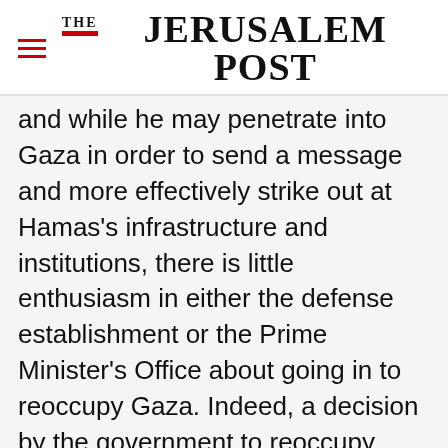THE JERUSALEM POST
and while he may penetrate into Gaza in order to send a message and more effectively strike out at Hamas's infrastructure and institutions, there is little enthusiasm in either the defense establishment or the Prime Minister's Office about going in to reoccupy Gaza. Indeed, a decision by the government to reoccupy Gaza would be tantamount to admitting that disengagement from Gaza in 2005 was a bad mistake and miscalculation, something neither
Advertisement